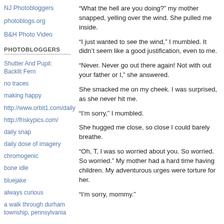NJ Photobloggers
photoblogs.org
B&H Photo Video
PHOTOBLOGGERS
Shutter And Pupil: Backlit Fern
no traces
making happy
http://www.orbit1.com/daily
http://friskypics.com/
daily snap
daily dose of imagery
chromogenic
bone idle
bluejake
always curious
a walk through durham township, pennsylvania
“What the hell are you doing?” my mother snapped, yelling over the wind. She pulled me inside.
“I just wanted to see the wind,” I mumbled. It didn’t seem like a good justification, even to me.
“Never. Never go out there again! Not with out your father or I,” she answered.
She smacked me on my cheek. I was surprised, as she never hit me.
“I’m sorry,” I mumbled.
She hugged me close, so close I could barely breathe.
“Oh, T, I was so worried about you. So worried. So worried.” My mother had a hard time having children. My adventurous urges were torture for her.
“I’m sorry, mommy.”